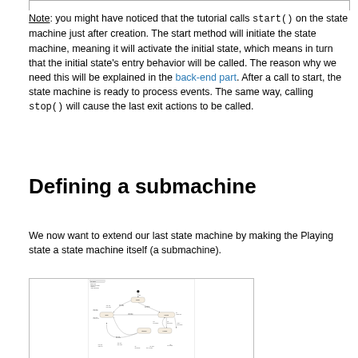Note: you might have noticed that the tutorial calls start() on the state machine just after creation. The start method will initiate the state machine, meaning it will activate the initial state, which means in turn that the initial state's entry behavior will be called. The reason why we need this will be explained in the back-end part. After a call to start, the state machine is ready to process events. The same way, calling stop() will cause the last exit actions to be called.
Defining a submachine
We now want to extend our last state machine by making the Playing state a state machine itself (a submachine).
[Figure (engineering-diagram): UML state machine diagram showing states: Empty, Stopped, Playing, Paused with transitions between them including labels for events and actions. The diagram is titled 'Jón Player' with metadata fields.]